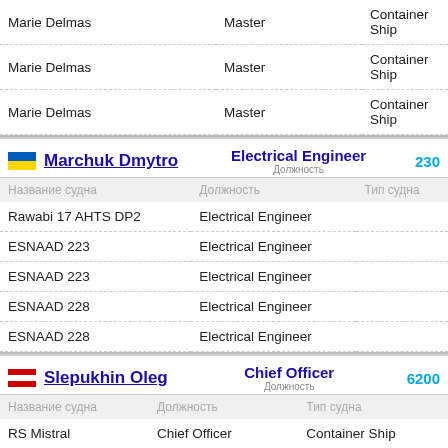| Название судна | Должность | Тип судна |
| --- | --- | --- |
| Marie Delmas | Master | Container Ship |
| Marie Delmas | Master | Container Ship |
| Marie Delmas | Master | Container Ship |
Marchuk Dmytro — Electrical Engineer — 230...
| Название судна | Должность | Тип судна |
| --- | --- | --- |
| Rawabi 17 AHTS DP2 | Electrical Engineer |  |
| ESNAAD 223 | Electrical Engineer |  |
| ESNAAD 223 | Electrical Engineer |  |
| ESNAAD 228 | Electrical Engineer |  |
| ESNAAD 228 | Electrical Engineer |  |
Slepukhin Oleg — Chief Officer — 6200...
| Название судна | Должность | Тип судна |
| --- | --- | --- |
| RS Mistral | Chief Officer | Container Ship |
| RS Mistral | Second Officer | Container Ship |
| RS Mistral | Second Officer | Container Ship |
| Reykjafoss | Second Officer | Container Ship |
| Reykjafoss | Second Officer | Container Ship |